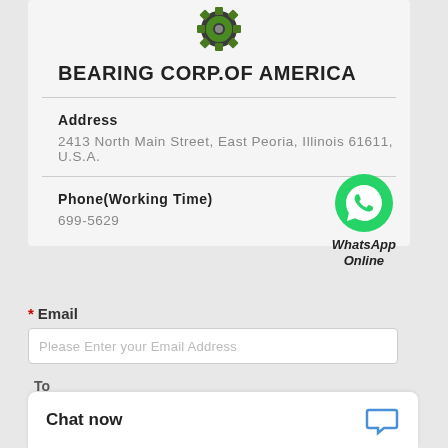[Figure (logo): Green gear/cog logo for Bearing Corp of America]
BEARING CORP.OF AMERICA
Address
2413 North Main Street, East Peoria, Illinois 61611, U.S.A.
Phone(Working Time)
699-5629
[Figure (logo): WhatsApp green circle phone icon with text WhatsApp Online]
* Email
Please Enter your Email Address
To
BEARING CORP.OF AMERICA
Chat now